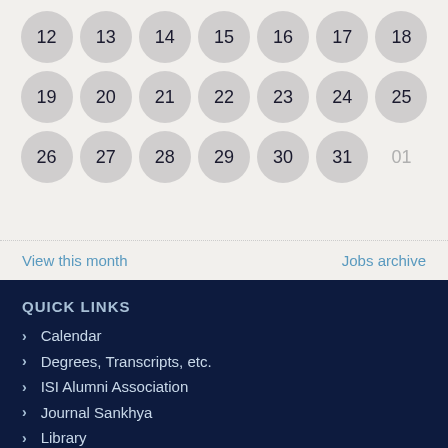[Figure (other): Calendar grid showing dates 12-01 with circular day buttons on light background]
View this month
Jobs archive
QUICK LINKS
Calendar
Degrees, Transcripts, etc.
ISI Alumni Association
Journal Sankhya
Library
VI-MSS